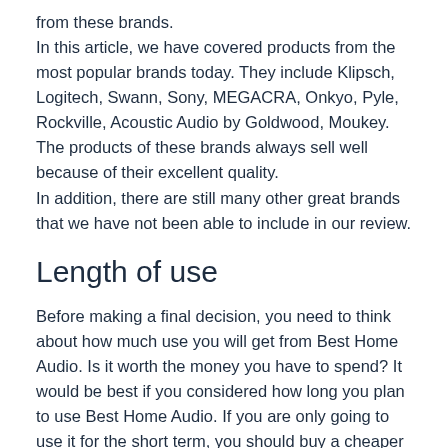from these brands.
In this article, we have covered products from the most popular brands today. They include Klipsch, Logitech, Swann, Sony, MEGACRA, Onkyo, Pyle, Rockville, Acoustic Audio by Goldwood, Moukey. The products of these brands always sell well because of their excellent quality.
In addition, there are still many other great brands that we have not been able to include in our review.
Length of use
Before making a final decision, you need to think about how much use you will get from Best Home Audio. Is it worth the money you have to spend? It would be best if you considered how long you plan to use Best Home Audio. If you are only going to use it for the short term, you should buy a cheaper product. On the contrary, if you plan to use Best